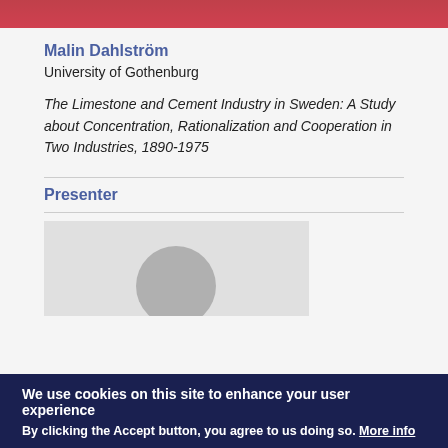[Figure (photo): Top portion of a photo, showing a person in red/pink clothing, cropped at the top of the page]
Malin Dahlström
University of Gothenburg
The Limestone and Cement Industry in Sweden: A Study about Concentration, Rationalization and Cooperation in Two Industries, 1890-1975
Presenter
[Figure (photo): Placeholder presenter photo with grey background and silhouette circle]
We use cookies on this site to enhance your user experience
By clicking the Accept button, you agree to us doing so. More info